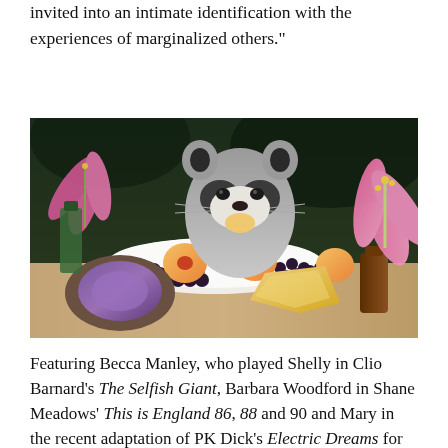relayed across this short but Voluble film, viewers are invited into an intimate identification with the experiences of marginalized others."
[Figure (photo): A raccoon looking at food on a plate. The still-life scene includes peaches, blackberries, an amethyst geode, pink lilies in a dark amber bottle, and other fruits and crystals arranged on a table.]
Featuring Becca Manley, who played Shelly in Clio Barnard's The Selfish Giant, Barbara Woodford in Shane Meadows' This is England 86, 88 and 90 and Mary in the recent adaptation of PK Dick's Electric Dreams for BBC Channel 4.